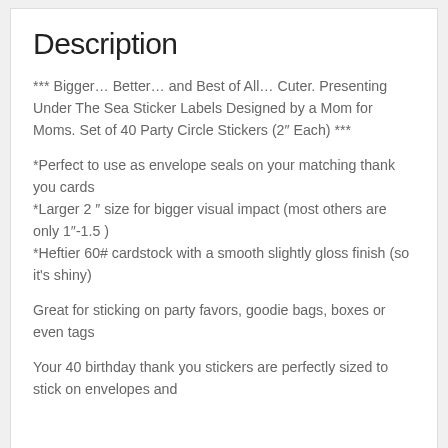Description
*** Bigger… Better… and Best of All… Cuter. Presenting Under The Sea Sticker Labels Designed by a Mom for Moms. Set of 40 Party Circle Stickers (2″ Each) ***
*Perfect to use as envelope seals on your matching thank you cards
*Larger 2 ″ size for bigger visual impact (most others are only 1″-1.5 )
*Heftier 60# cardstock with a smooth slightly gloss finish (so it's shiny)
Great for sticking on party favors, goodie bags, boxes or even tags
Your 40 birthday thank you stickers are perfectly sized to stick on envelopes and